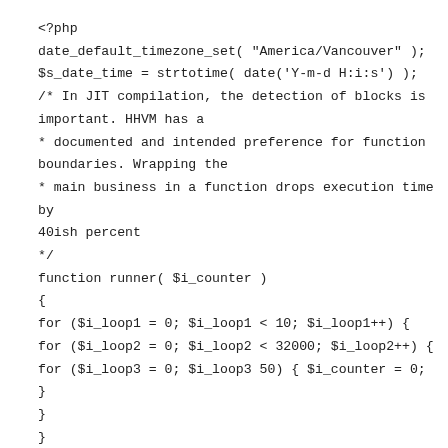<?php
date_default_timezone_set( "America/Vancouver" );
$s_date_time = strtotime( date('Y-m-d H:i:s') );
/* In JIT compilation, the detection of blocks is
important. HHVM has a
* documented and intended preference for function
boundaries. Wrapping the
* main business in a function drops execution time by
40ish percent
*/
function runner( $i_counter )
{
for ($i_loop1 = 0; $i_loop1 < 10; $i_loop1++) {
for ($i_loop2 = 0; $i_loop2 < 32000; $i_loop2++) {
for ($i_loop3 = 0; $i_loop3 50) { $i_counter = 0; }
}
}